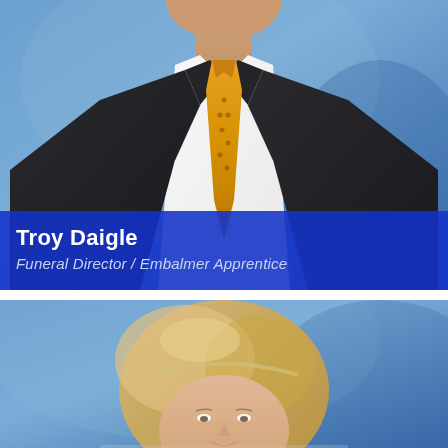[Figure (photo): Professional headshot of Troy Daigle, a man in a dark suit with a gold/yellow tie, photographed against a blue background. The photo is cropped to show his torso and face (face cut off at top of frame). A blue overlay band at the bottom displays his name and title.]
Troy Daigle
Funeral Director / Embalmer Apprentice
[Figure (photo): Professional headshot of a blonde woman photographed against a blue background, cropped to show her head and upper shoulders. The photo is partially cut off at the bottom of the page.]